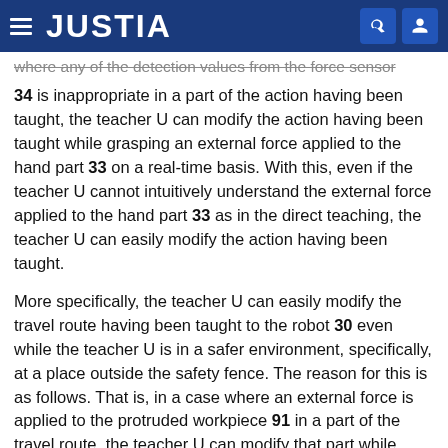JUSTIA
where any of the detection values from the force sensor 34 is inappropriate in a part of the action having been taught, the teacher U can modify the action having been taught while grasping an external force applied to the hand part 33 on a real-time basis. With this, even if the teacher U cannot intuitively understand the external force applied to the hand part 33 as in the direct teaching, the teacher U can easily modify the action having been taught.
More specifically, the teacher U can easily modify the travel route having been taught to the robot 30 even while the teacher U is in a safer environment, specifically, at a place outside the safety fence. The reason for this is as follows. That is, in a case where an external force is applied to the protruded workpiece 91 in a part of the travel route, the teacher U can modify that part while seeing the screen 61. For example, by